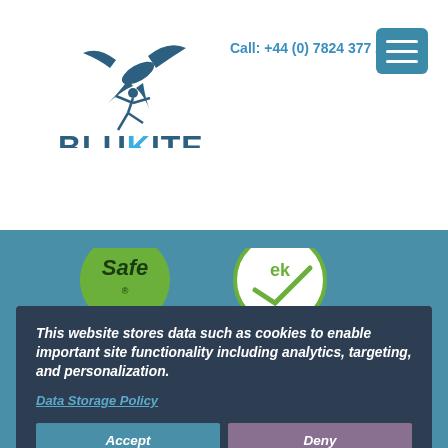[Figure (logo): BluKite Yoga logo with bird and yoga figure silhouette, text BLUKITE yoga]
Call: +44 (0) 7824 377 292
[Figure (illustration): Hamburger menu icon button (teal rounded square with three white bars)]
[Figure (illustration): Partial certification badges: Safe badge (green circle) and another badge partially visible]
This website stores data such as cookies to enable important site functionality including analytics, targeting, and personalization.
Data Storage Policy
Accept
Deny
Share this page
[Figure (illustration): Social share icons: Facebook (f), Twitter (bird), Email (envelope) in white rounded square buttons]